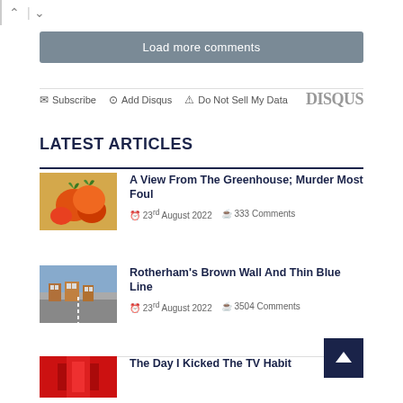^ | v
Load more comments
Subscribe  Add Disqus  Do Not Sell My Data  DISQUS
LATEST ARTICLES
A View From The Greenhouse; Murder Most Foul
23rd August 2022  333 Comments
Rotherham's Brown Wall And Thin Blue Line
23rd August 2022  3504 Comments
The Day I Kicked The TV Habit